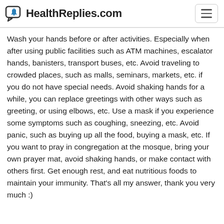HealthReplies.com
Wash your hands before or after activities. Especially when after using public facilities such as ATM machines, escalator hands, banisters, transport buses, etc. Avoid traveling to crowded places, such as malls, seminars, markets, etc. if you do not have special needs. Avoid shaking hands for a while, you can replace greetings with other ways such as greeting, or using elbows, etc. Use a mask if you experience some symptoms such as coughing, sneezing, etc. Avoid panic, such as buying up all the food, buying a mask, etc. If you want to pray in congregation at the mosque, bring your own prayer mat, avoid shaking hands, or make contact with others first. Get enough rest, and eat nutritious foods to maintain your immunity. That's all my answer, thank you very much :)